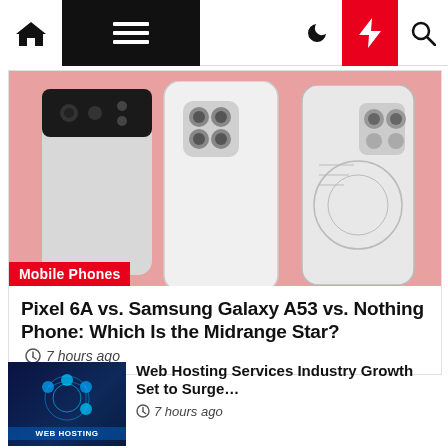Navigation bar with home, menu, moon, bolt (red), and search icons
[Figure (photo): Three smartphones shown from the back on a pink background: Pixel 6A (left, dark camera bar), Samsung Galaxy A53 (center, white, quad camera), Nothing Phone (right, white, transparent design)]
Mobile Phones
Pixel 6A vs. Samsung Galaxy A53 vs. Nothing Phone: Which Is the Midrange Star?
7 hours ago
[Figure (photo): Thumbnail image showing a web hosting services concept with glowing digital icons and text 'WEB HOSTING' on a dark blue background]
Web Hosting Services Industry Growth Set to Surge…
7 hours ago